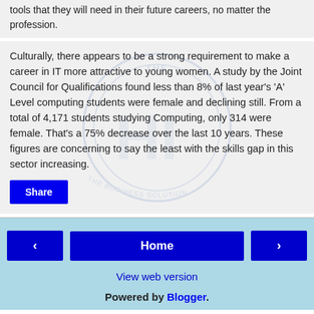tools that they will need in their future careers, no matter the profession.
Culturally, there appears to be a strong requirement to make a career in IT more attractive to young women. A study by the Joint Council for Qualifications found less than 8% of last year's 'A' Level computing students were female and declining still. From a total of 4,171 students studying Computing, only 314 were female. That's a 75% decrease over the last 10 years. These figures are concerning to say the least with the skills gap in this sector increasing.
Share | ‹ Home › | View web version | Powered by Blogger.